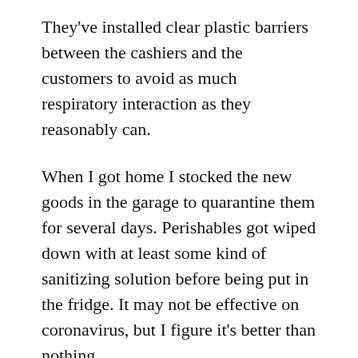They've installed clear plastic barriers between the cashiers and the customers to avoid as much respiratory interaction as they reasonably can.
When I got home I stocked the new goods in the garage to quarantine them for several days. Perishables got wiped down with at least some kind of sanitizing solution before being put in the fridge. It may not be effective on coronavirus, but I figure it's better than nothing.
Should be able to avoid leaving the house again for another 1.5–2 weeks. I only expect the medical conditions to get worse in that